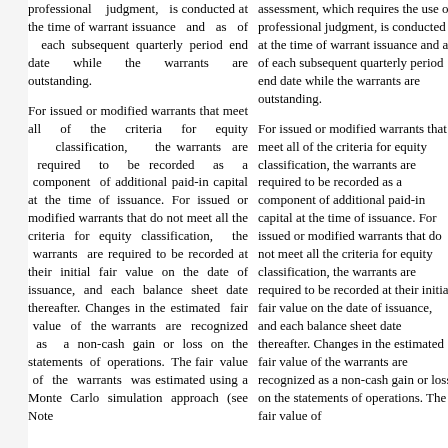professional judgment, is conducted at the time of warrant issuance and as of each subsequent quarterly period end date while the warrants are outstanding.
For issued or modified warrants that meet all of the criteria for equity classification, the warrants are required to be recorded as a component of additional paid-in capital at the time of issuance. For issued or modified warrants that do not meet all the criteria for equity classification, the warrants are required to be recorded at their initial fair value on the date of issuance, and each balance sheet date thereafter. Changes in the estimated fair value of the warrants are recognized as a non-cash gain or loss on the statements of operations. The fair value of the warrants was estimated using a Monte Carlo simulation approach (see Note
assessment, which requires the use of professional judgment, is conducted at the time of warrant issuance and as of each subsequent quarterly period end date while the warrants are outstanding.
For issued or modified warrants that meet all of the criteria for equity classification, the warrants are required to be recorded as a component of additional paid-in capital at the time of issuance. For issued or modified warrants that do not meet all the criteria for equity classification, the warrants are required to be recorded at their initial fair value on the date of issuance, and each balance sheet date thereafter. Changes in the estimated fair value of the warrants are recognized as a non-cash gain or loss on the statements of operations. The fair value of